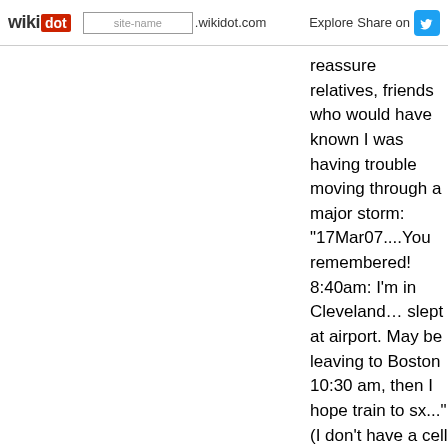wikidot | site-name .wikidot.com | Explore Share on [Twitter]
reassure relatives, friends who would have known I was having trouble moving through a major storm: "17Mar07....You remembered! 8:40am: I'm in Cleveland… slept at airport. May be leaving to Boston 10:30 am, then I hope train to sx..." (I don't have a cell phone… but